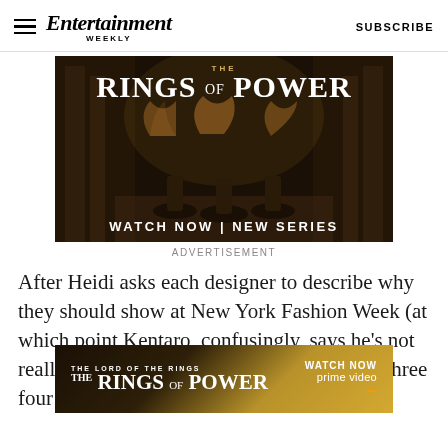Entertainment Weekly — SUBSCRIBE
[Figure (photo): Advertisement for The Rings of Power — showing armored figures in a grand hall with text 'THE RINGS OF POWER' and 'WATCH NOW | NEW SERIES']
ADVERTISEMENT
After Heidi asks each designer to describe why they should show at New York Fashion Week (at which point Kentaro, confusingly, says he's not really ready) the judges deliberate. And the three four
[Figure (photo): Second advertisement for The Lord of the Rings: The Rings of Power on Prime Video — with text 'THE LORD OF THE RINGS THE RINGS OF POWER WATCH NOW prime video']